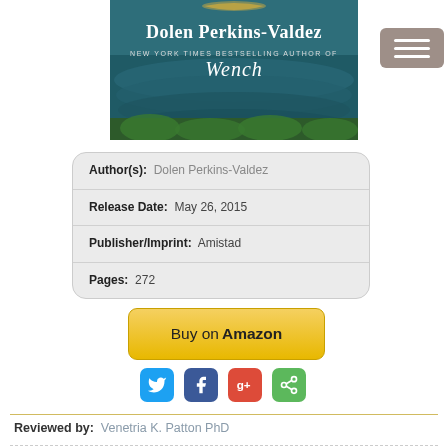[Figure (illustration): Book cover showing 'Dolen Perkins-Valdez, New York Times Bestselling Author of Wench' text over a teal/blue ruffled dress background with greenery]
| Author(s): | Dolen Perkins-Valdez |
| Release Date: | May 26, 2015 |
| Publisher/Imprint: | Amistad |
| Pages: | 272 |
Buy on Amazon
[Figure (infographic): Social sharing icons: Twitter (blue), Facebook (blue), Google+ (red), Share (green)]
Reviewed by:  Venetria K. Patton PhD